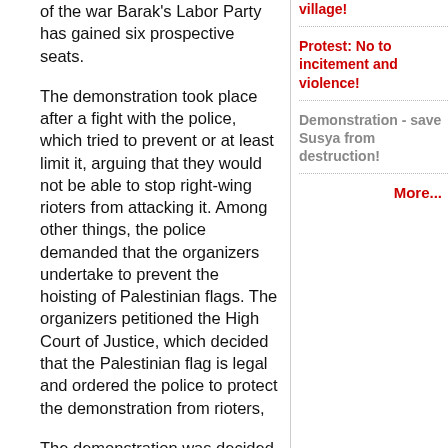of the war Barak's Labor Party has gained six prospective seats.
The demonstration took place after a fight with the police, which tried to prevent or at least limit it, arguing that they would not be able to stop right-wing rioters from attacking it. Among other things, the police demanded that the organizers undertake to prevent the hoisting of Palestinian flags. The organizers petitioned the High Court of Justice, which decided that the Palestinian flag is legal and ordered the police to protect the demonstration from rioters,
The demonstration was decided upon by Gush Shalom and 20 other peace organizations, including the
village!
Protest: No to incitement and violence!
Demonstration - save Susya from destruction!
More...